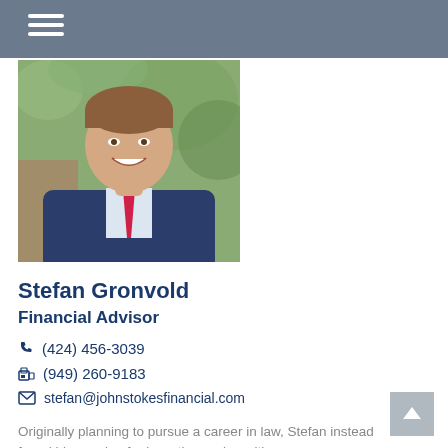[Figure (photo): Professional headshot of Stefan Gronvold, a man in a navy blue suit with a red tie, smiling outdoors with green foliage in background.]
Stefan Gronvold
Financial Advisor
(424) 456-3039
(949) 260-9183
stefan@johnstokesfinancial.com
Originally planning to pursue a career in law, Stefan instead found his passion for investing and wealth